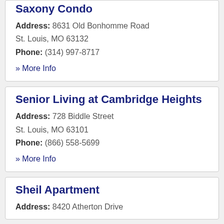Saxony Condo
Address: 8631 Old Bonhomme Road
St. Louis, MO 63132
Phone: (314) 997-8717
» More Info
Senior Living at Cambridge Heights
Address: 728 Biddle Street
St. Louis, MO 63101
Phone: (866) 558-5699
» More Info
Sheil Apartment
Address: 8420 Atherton Drive